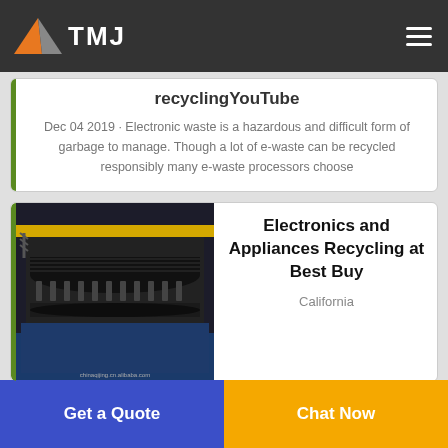TMJ
recyclingYouTube
Dec 04 2019 · Electronic waste is a hazardous and difficult form of garbage to manage. Though a lot of e-waste can be recycled responsibly many e-waste processors choose
[Figure (photo): Close-up photograph of industrial recycling machinery interior, showing metal rollers and mechanical components, with 'chinaqijing.cn.alibaba.com' watermark]
Electronics and Appliances Recycling at Best Buy
California
Get a Quote
Chat Now